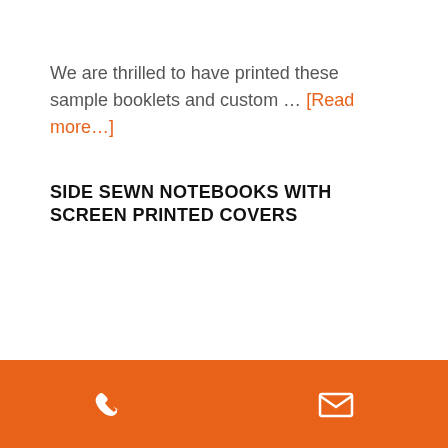We are thrilled to have printed these sample booklets and custom … [Read more…]
SIDE SEWN NOTEBOOKS WITH SCREEN PRINTED COVERS
phone and email icons